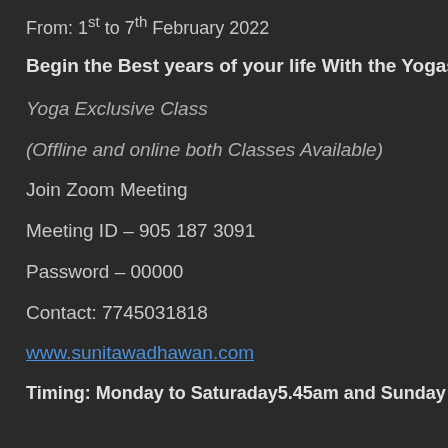From: 1st to 7th February 2022
Begin the Best years of your life With the Yogasutra
Yoga Exclusive Class
(Offline and online both Classes Available)
Join Zoom Meeting
Meeting ID – 905 187 3091
Password – 00000
Contact: 7745031818
www.sunitawadhawan.com
Timing: Monday to Saturaday5.45am and Sunday 6.00